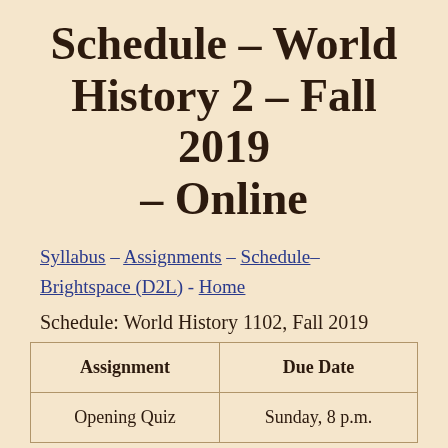Schedule – World History 2 – Fall 2019 – Online
Syllabus – Assignments – Schedule – Brightspace (D2L) - Home
Schedule: World History 1102, Fall 2019
| Assignment | Due Date |
| --- | --- |
| Opening Quiz | Sunday, 8 p.m. |